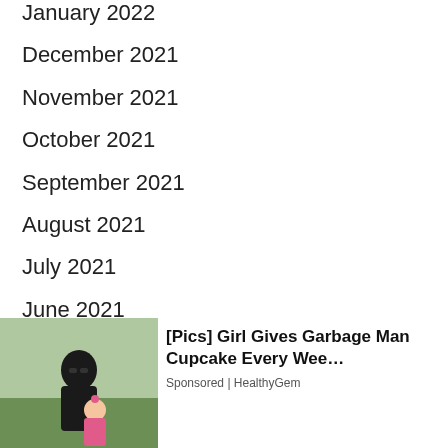January 2022 (partial, cropped at top)
December 2021
November 2021
October 2021
September 2021
August 2021
July 2021
June 2021
May 2021
April 2021
March 2021
February (partial)
January (partial)
[Figure (photo): Advertisement overlay: photo of a man and young girl, with text '[Pics] Girl Gives Garbage Man Cupcake Every Wee…' Sponsored | HealthyGem]